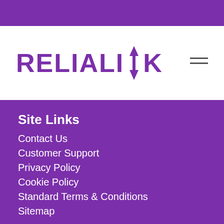[Figure (logo): Relialink logo with purple text and up/down arrow through the letter N]
Site Links
Contact Us
Customer Support
Privacy Policy
Cookie Policy
Standard Terms & Conditions
Sitemap
This website uses cookies to improve your experience. We'll assume you're ok with this, but you can opt-out if you wish.
Cookie settings
ACCEPT